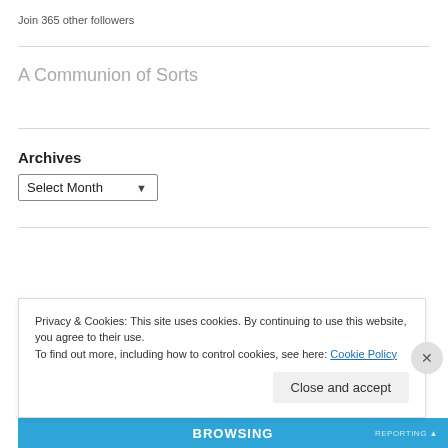Join 365 other followers
A Communion of Sorts
Archives
Select Month
Privacy & Cookies: This site uses cookies. By continuing to use this website, you agree to their use.
To find out more, including how to control cookies, see here: Cookie Policy
Close and accept